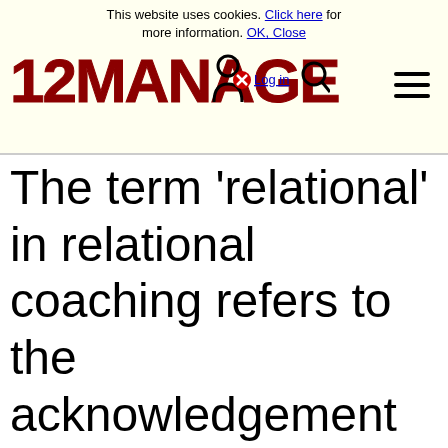This website uses cookies. Click here for more information. OK, Close
[Figure (logo): 12MANAGE logo in dark red bold text with hamburger menu icon]
The term 'relational' in relational coaching refers to the acknowledgement of the relational needs inherent to social